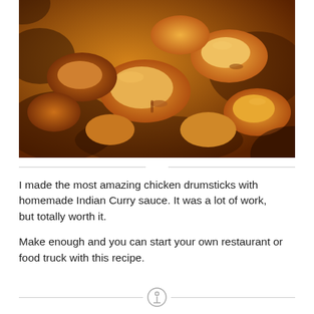[Figure (photo): Close-up photo of chicken drumsticks cooked in Indian curry sauce, showing golden-brown pieces coated in orange-brown curry sauce]
I made the most amazing chicken drumsticks with homemade Indian Curry sauce. It was a lot of work, but totally worth it.
Make enough and you can start your own restaurant or food truck with this recipe.